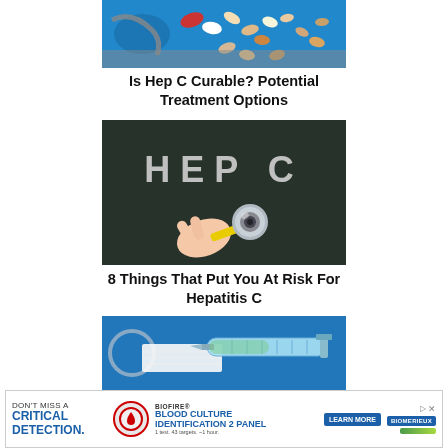[Figure (photo): Medical pills, capsules and stethoscope on blue background]
Is Hep C Curable? Potential Treatment Options
[Figure (photo): Chalkboard with 'HEP C' written in chalk with a stethoscope being held by a hand]
8 Things That Put You At Risk For Hepatitis C
[Figure (photo): Medical syringe and stethoscope on blue background]
[Figure (photo): BioFire Blood Culture Identification 2 Panel advertisement banner - DON'T MISS A CRITICAL DETECTION. BIOFIRE BLOOD CULTURE IDENTIFICATION 2 PANEL. 1 test. 43 targets. ~1 hour. LEARN MORE. bioMérieux logo.]